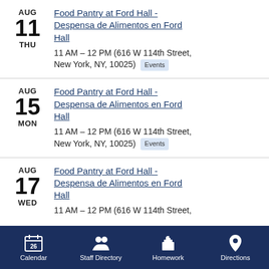AUG 11 THU — Food Pantry at Ford Hall - Despensa de Alimentos en Ford Hall — 11 AM – 12 PM (616 W 114th Street, New York, NY, 10025) Events
AUG 15 MON — Food Pantry at Ford Hall - Despensa de Alimentos en Ford Hall — 11 AM – 12 PM (616 W 114th Street, New York, NY, 10025) Events
AUG 17 WED — Food Pantry at Ford Hall - Despensa de Alimentos en Ford Hall — 11 AM – 12 PM (616 W 114th Street,
Calendar | Staff Directory | Homework | Directions